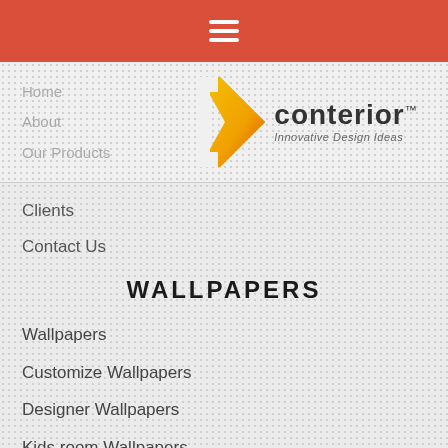[Figure (other): Red navigation bar with white hamburger menu icon]
[Figure (logo): Conterior logo with orange chevron/arrow shape and text 'conterior™ Innovative Design Ideas']
Home
About
Our Products
Clients
Contact Us
WALLPAPERS
Wallpapers
Customize Wallpapers
Designer Wallpapers
Kids room Wallpapers
Latest Wallpapers
Office Wallpapers